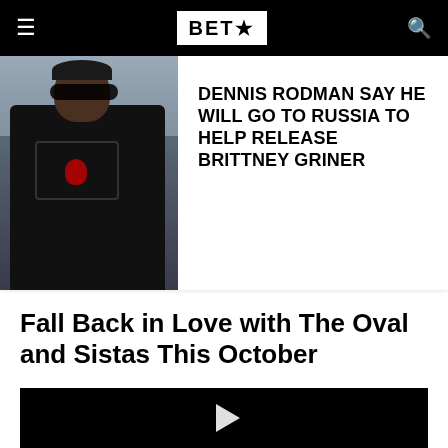BET★
[Figure (photo): Dennis Rodman wearing sunglasses and a black hoodie with NBA logo, holding a black cap]
DENNIS RODMAN SAY HE WILL GO TO RUSSIA TO HELP RELEASE BRITTNEY GRINER
Fall Back in Love with The Oval and Sistas This October
[Figure (screenshot): Black video player with a white play button triangle in the center]